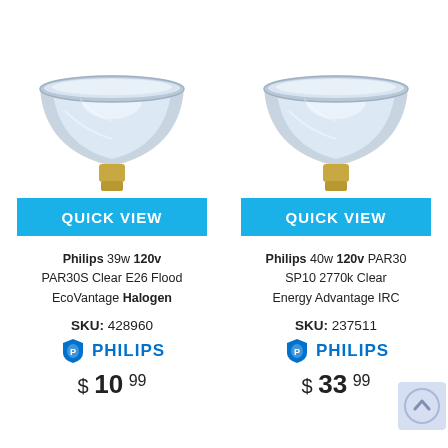[Figure (photo): Philips PAR30S halogen bulb product image with silver reflector bowl and brass base]
QUICK VIEW
Philips 39w 120v PAR30S Clear E26 Flood EcoVantage Halogen
SKU: 428960
[Figure (logo): Philips brand logo with blue shield and PHILIPS text]
$ 10 99
[Figure (photo): Philips PAR30 halogen bulb product image with silver reflector bowl and brass base]
QUICK VIEW
Philips 40w 120v PAR30 SP10 2770k Clear Energy Advantage IRC
SKU: 237511
[Figure (logo): Philips brand logo with blue shield and PHILIPS text]
$ 33 99